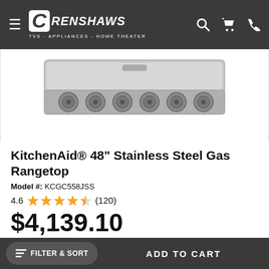CRENSHAWS — TVS - APPLIANCES - HOME THEATER
[Figure (photo): KitchenAid 48-inch stainless steel gas rangetop with six burner knobs visible along the front panel, photographed from slightly above against a white background]
KitchenAid® 48" Stainless Steel Gas Rangetop
Model #: KCGC558JSS
4.6 ★★★★✩ (120)
$4,139.10
$4,599.00  Save $459.90
FILTER & SORT   ADD TO CART